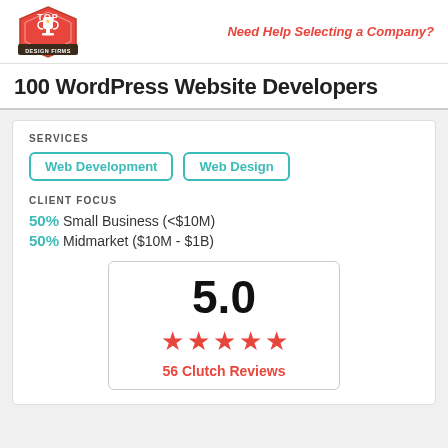[Figure (logo): Top Design Firms red hexagon logo with trophy icon and banner]
Need Help Selecting a Company?
100 WordPress Website Developers
SERVICES
Web Development
Web Design
CLIENT FOCUS
50% Small Business (<$10M)
50% Midmarket ($10M - $1B)
[Figure (infographic): Rating box showing 5.0 score with five red stars and 56 Clutch Reviews text]